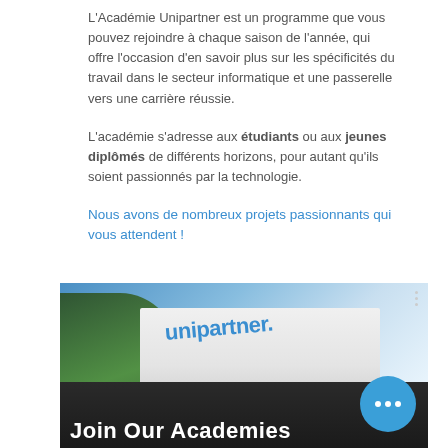L'Académie Unipartner est un programme que vous pouvez rejoindre à chaque saison de l'année, qui offre l'occasion d'en savoir plus sur les spécificités du travail dans le secteur informatique et une passerelle vers une carrière réussie.
L'académie s'adresse aux étudiants ou aux jeunes diplômés de différents horizons, pour autant qu'ils soient passionnés par la technologie.
Nous avons de nombreux projets passionnants qui vous attendent !
[Figure (photo): Photo of Unipartner building exterior with 'unipartner' sign visible, dark overlay at bottom with text 'Join Our Academies' partially visible, and a blue circular button with three dots on the right side]